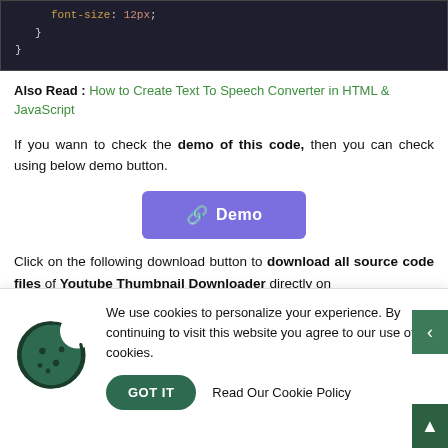[Figure (screenshot): Code block showing CSS with font-size: 12px; inside nested braces. Property name in orange/tan, value in orange, punctuation in light gray on dark background.]
Also Read : How to Create Text To Speech Converter in HTML & JavaScript
If you wann to check the demo of this code, then you can check using below demo button.
[Figure (other): Purple/indigo Demo button with a chain/link icon]
Click on the following download button to download all source code files of Youtube Thumbnail Downloader directly on
[Figure (other): Cookie consent banner with cookie icon, consent text, GOT IT button, and Read Our Cookie Policy link. Side arrow navigation buttons visible on right.]